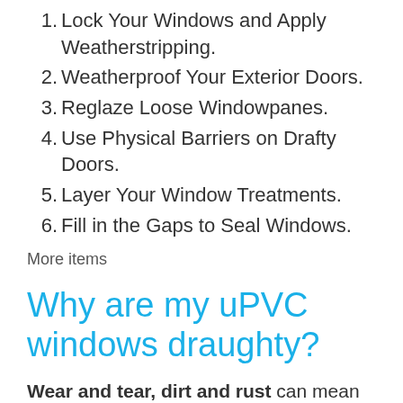1. Lock Your Windows and Apply Weatherstripping.
2. Weatherproof Your Exterior Doors.
3. Reglaze Loose Windowpanes.
4. Use Physical Barriers on Drafty Doors.
5. Layer Your Window Treatments.
6. Fill in the Gaps to Seal Windows.
More items
Why are my uPVC windows draughty?
Wear and tear, dirt and rust can mean hinges on uPVC windows can fall out of alignment. This means your uPVC window isn't forming a tight seal when it's closed. A good clean might do the trick but you